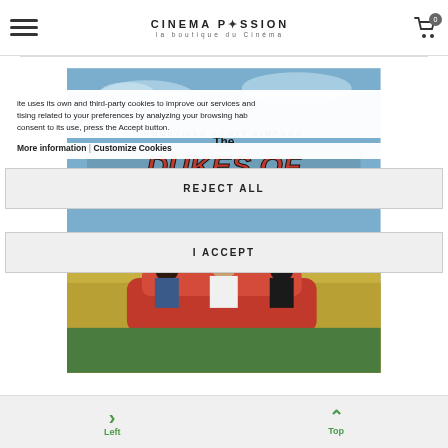CINEMA PASSION - La boutique du Cinéma
[Figure (photo): Movie poster for 'The Dukes of Hazzard' showing actors Knoxville, Scott, Simpson sitting on a red car in a field, with colorful title text]
ite uses its own and third-party cookies to improve our services and tising related to your preferences by analyzing your browsing hab consent to its use, press the Accept button.
More information | Customize Cookies
REJECT ALL
I ACCEPT
Left   Top